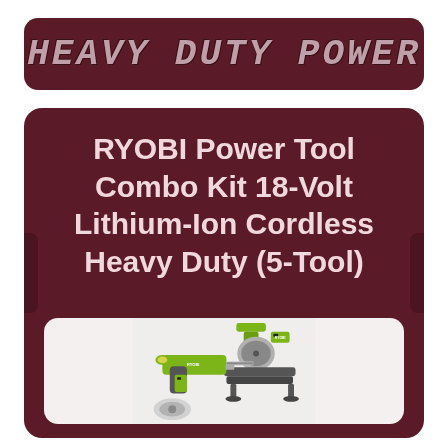Heavy Duty Power
RYOBI Power Tool Combo Kit 18-Volt Lithium-Ion Cordless Heavy Duty (5-Tool)
[Figure (photo): Photo of RYOBI 18-Volt cordless power tool combo kit including a reciprocating saw and miter saw, shown in lime green and grey color scheme]